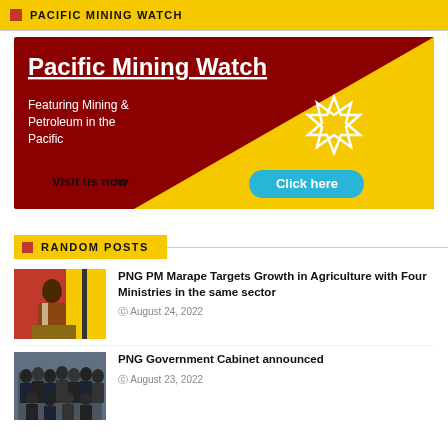PACIFIC MINING WATCH
[Figure (infographic): Pacific Mining Watch banner ad with dark red and yellow diagonal triangle background, star icon, and 'Visit us now >> Click here' call to action button]
RANDOM POSTS
[Figure (photo): Photo of a man in a suit at a podium with red and yellow flags in the background]
PNG PM Marape Targets Growth in Agriculture with Four Ministries in the same sector
August 24, 2022
[Figure (photo): Photo of a large group of men in suits standing together]
PNG Government Cabinet announced
August 23, 2022